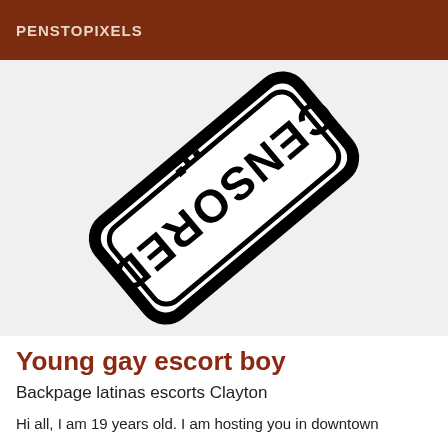PENSTOPIXELS
[Figure (illustration): A rotated stamp/seal graphic showing the word 'CENSORED' printed upside-down in bold stencil-style lettering within a rounded rectangle border, rendered in black and white.]
Young gay escort boy
Backpage latinas escorts Clayton
Hi all, I am 19 years old. I am hosting you in downtown